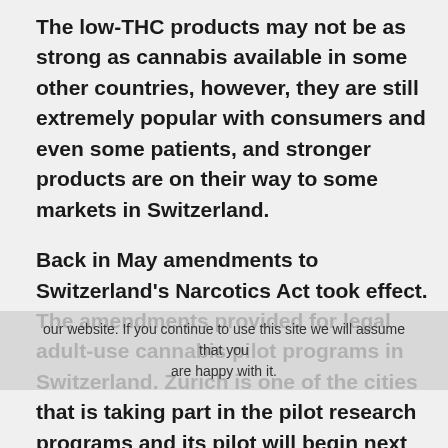The low-THC products may not be as strong as cannabis available in some other countries, however, they are still extremely popular with consumers and even some patients, and stronger products are on their way to some markets in Switzerland.
Back in May amendments to Switzerland's Narcotics Act took effect. The amendments provided for legal adult-use cannabis pilot programs in Switzerland. Zurich is one of the cities that is taking part in the pilot research programs and its pilot will begin next year.
The pilot program in Zurich will run for three and a half years as part of a greater research program to help lawmakers craft federal policies and industry regulations. Basel, Bern, Lucerne, and Geneva are also launching their own related pilot programs.